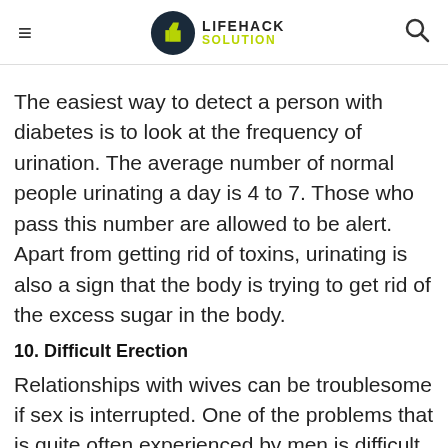LIFEHACK SOLUTION
The easiest way to detect a person with diabetes is to look at the frequency of urination. The average number of normal people urinating a day is 4 to 7. Those who pass this number are allowed to be alert. Apart from getting rid of toxins, urinating is also a sign that the body is trying to get rid of the excess sugar in the body.
10. Difficult Erection
Relationships with wives can be troublesome if sex is interrupted. One of the problems that is quite often experienced by men is difficult erection. Apart from being difficult to get an erection, once you can get an